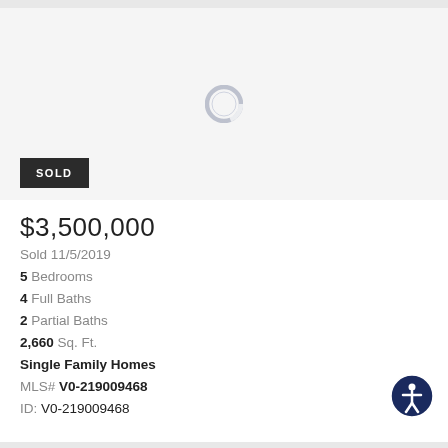[Figure (other): Loading spinner / placeholder image area for a real estate listing photo]
SOLD
$3,500,000
Sold 11/5/2019
5 Bedrooms
4 Full Baths
2 Partial Baths
2,660 Sq. Ft.
Single Family Homes
MLS# V0-219009468
ID: V0-219009468